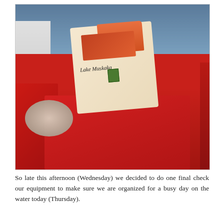[Figure (photo): A decorative pillow with a vintage Lake Muskaka postcard collage design (featuring a couple in a boat, stamps, handwriting, fish, and red-jacketed figures) resting on a bright red leather boat seat with white rope coils beside it. The background shows dark blue water.]
So late this afternoon (Wednesday) we decided to do one final check our equipment to make sure we are organized for a busy day on the water today (Thursday).